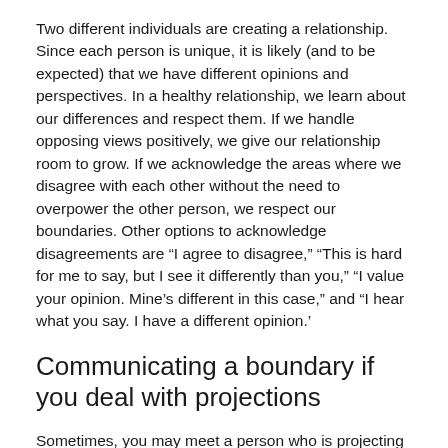Two different individuals are creating a relationship. Since each person is unique, it is likely (and to be expected) that we have different opinions and perspectives. In a healthy relationship, we learn about our differences and respect them. If we handle opposing views positively, we give our relationship room to grow. If we acknowledge the areas where we disagree with each other without the need to overpower the other person, we respect our boundaries. Other options to acknowledge disagreements are “I agree to disagree,” “This is hard for me to say, but I see it differently than you,” “I value your opinion. Mine’s different in this case,” and “I hear what you say. I have a different opinion.’
Communicating a boundary if you deal with projections
Sometimes, you may meet a person who is projecting onto you. While you cannot change their